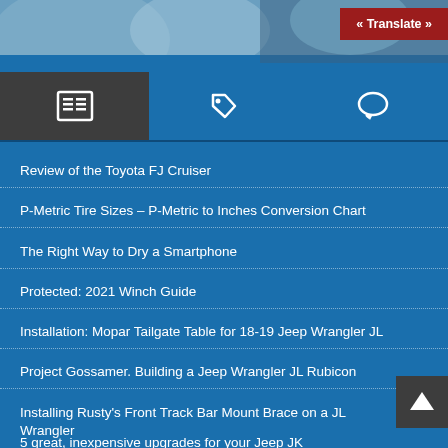[Figure (photo): Outdoor nature/rock and sky photo strip at top of page]
« Translate »
[Figure (screenshot): Navigation tab bar with three icons: newspaper/article icon (active, dark background), tag icon, and speech bubble/comment icon]
Review of the Toyota FJ Cruiser
P-Metric Tire Sizes – P-Metric to Inches Conversion Chart
The Right Way to Dry a Smartphone
Protected: 2021 Winch Guide
Installation: Mopar Tailgate Table for 18-19 Jeep Wrangler JL
Project Gossamer. Building a Jeep Wrangler JL Rubicon
Installing Rusty's Front Track Bar Mount Brace on a JL Wrangler
5 great, inexpensive upgrades for your Jeep JK